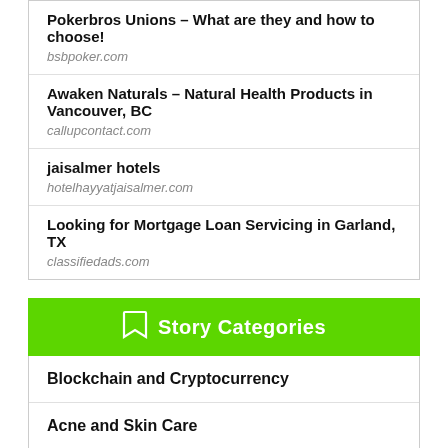Pokerbros Unions – What are they and how to choose!
bsbpoker.com
Awaken Naturals – Natural Health Products in Vancouver, BC
callupcontact.com
jaisalmer hotels
hotelhayyatjaisalmer.com
Looking for Mortgage Loan Servicing in Garland, TX
classifiedads.com
Story Categories
Blockchain and Cryptocurrency
Acne and Skin Care
Art